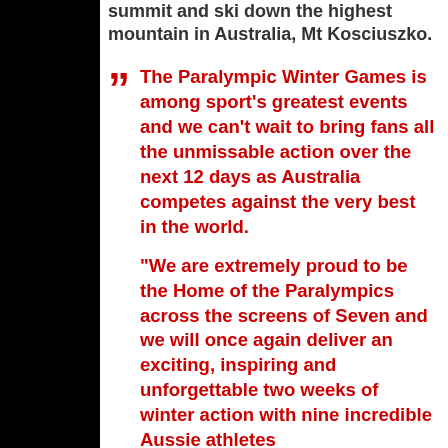summit and ski down the highest mountain in Australia, Mt Kosciuszko.
The Paralympic Winter Games is among sport's greatest events and we can't wait to bring fans all the unmissable action over the next 12 days as Australia competes against the very best in the world.

"We are extremely proud to be the Home of the Paralympics across the screens of Seven and we will once again deliver an exciting, inspiring and unforgettable two weeks of winter action with nine incredible Aussie athletes